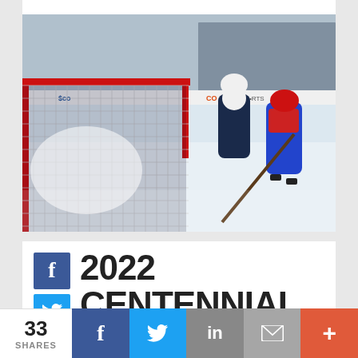[Figure (photo): Hockey game action photo showing players near a goal net. A player in blue and red uniform (right) and a player in white and dark uniform (center) on ice. Red goal net visible prominently in foreground, stadium seating in background with advertising boards.]
2022 CENTENNIAL CUP RECAP:
33 SHARES
[Figure (infographic): Social share bar with Facebook, Twitter, LinkedIn, Email, and Plus buttons. Share count shows 33 SHARES.]